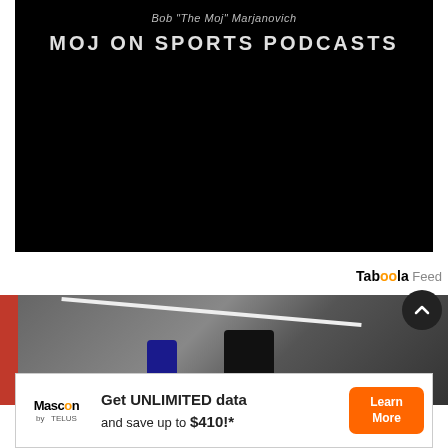[Figure (screenshot): Black background podcast cover image with text 'Bob "The Moj" Marjanovich' and 'MOJ ON SPORTS PODCASTS']
Taboola Feed
[Figure (photo): Scene showing people on stairs]
[Figure (infographic): Mascon by TELUS advertisement: Get UNLIMITED data and save up to $410!* with Learn More button]